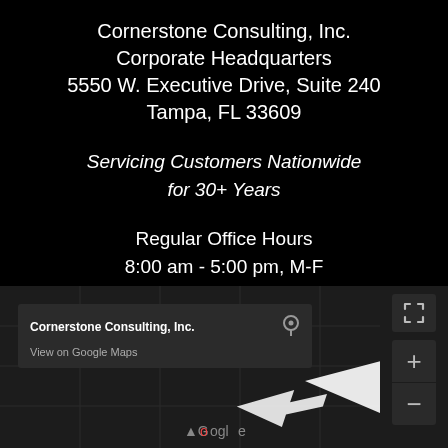Cornerstone Consulting, Inc.
Corporate Headquarters
5550 W. Executive Drive, Suite 240
Tampa, FL 33609
Servicing Customers Nationwide for 30+ Years
Regular Office Hours
8:00 am - 5:00 pm, M-F
SEE INSIDE OUR TAMPA, FL, OFFICE
[Figure (screenshot): Google Maps embed showing Cornerstone Consulting, Inc. location with a dark-themed map, a tooltip popup showing the business name and 'View on Google Maps' link, map controls (fullscreen, zoom in/out), a white street-view arrow, and partial Google logo at bottom.]